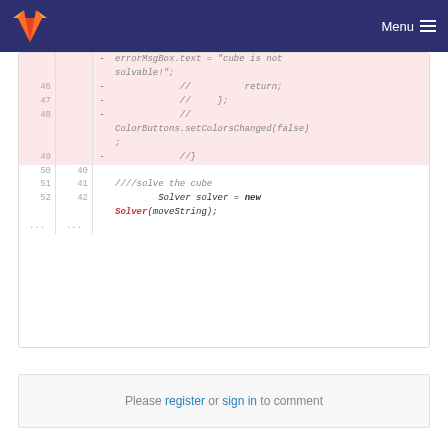GitLab — Menu
Code diff showing deleted lines 46-49 (errorMsgBox.text = 'cube is not solvable!'; // return; // }; // ColorButtons.setColorsChanged(false); ; //}) and normal lines 50-52 (////solve the cube, Solver solver = new Solver(moveString);)
Please register or sign in to comment